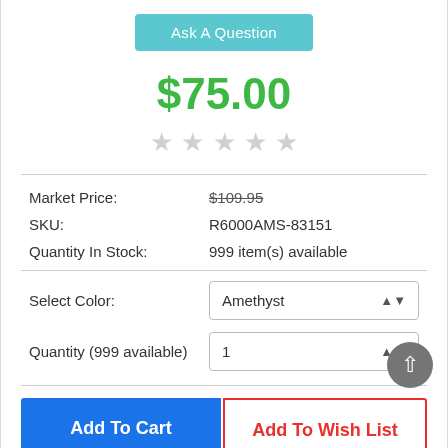Ask A Question
$75.00
★★★★★ (empty stars rating)
Market Price: $109.95 (strikethrough)
SKU: R6000AMS-83151
Quantity In Stock: 999 item(s) available
Select Color: Amethyst
Quantity (999 available): 1
Add To Cart
Add To Wish List